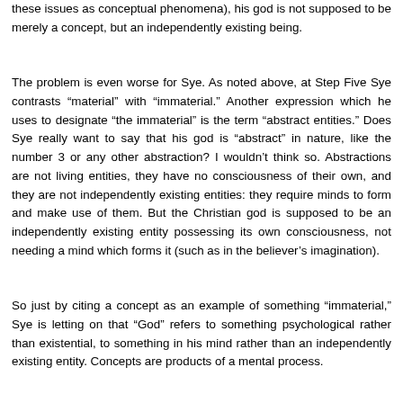these issues as conceptual phenomena), his god is not supposed to be merely a concept, but an independently existing being.
The problem is even worse for Sye. As noted above, at Step Five Sye contrasts “material” with “immaterial.” Another expression which he uses to designate “the immaterial” is the term “abstract entities.” Does Sye really want to say that his god is “abstract” in nature, like the number 3 or any other abstraction? I wouldn’t think so. Abstractions are not living entities, they have no consciousness of their own, and they are not independently existing entities: they require minds to form and make use of them. But the Christian god is supposed to be an independently existing entity possessing its own consciousness, not needing a mind which forms it (such as in the believer’s imagination).
So just by citing a concept as an example of something “immaterial,” Sye is letting on that “God” refers to something psychological rather than existential, to something in his mind rather than an independently existing entity. Concepts are products of a mental process.